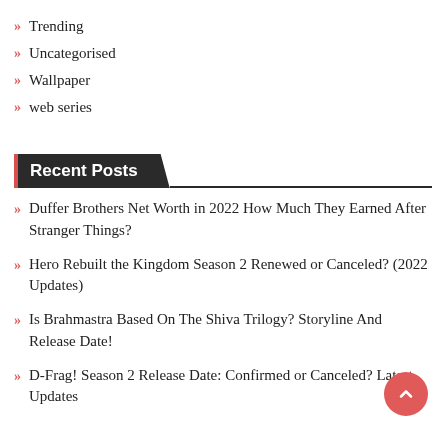Trending
Uncategorised
Wallpaper
web series
Recent Posts
Duffer Brothers Net Worth in 2022 How Much They Earned After Stranger Things?
Hero Rebuilt the Kingdom Season 2 Renewed or Canceled? (2022 Updates)
Is Brahmastra Based On The Shiva Trilogy? Storyline And Release Date!
D-Frag! Season 2 Release Date: Confirmed or Canceled? Latest Updates